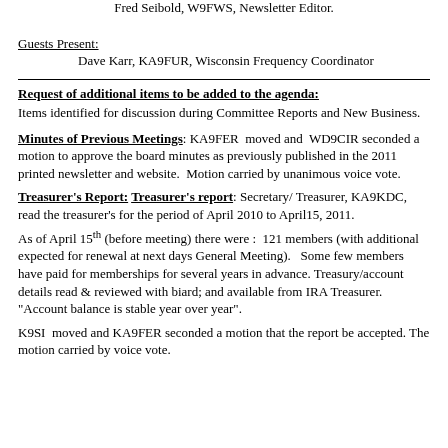Fred Seibold, W9FWS, Newsletter Editor.
Guests Present:
Dave Karr, KA9FUR, Wisconsin Frequency Coordinator
Request of additional items to be added to the agenda:
Items identified for discussion during Committee Reports and New Business.
Minutes of Previous Meetings: KA9FER moved and WD9CIR seconded a motion to approve the board minutes as previously published in the 2011 printed newsletter and website. Motion carried by unanimous voice vote.
Treasurer's Report: Treasurer's report: Secretary/ Treasurer, KA9KDC, read the treasurer's for the period of April 2010 to April15, 2011. As of April 15th (before meeting) there were : 121 members (with additional expected for renewal at next days General Meeting). Some few members have paid for memberships for several years in advance. Treasury/account details read & reviewed with biard; and available from IRA Treasurer. "Account balance is stable year over year".
K9SI moved and KA9FER seconded a motion that the report be accepted. The motion carried by voice vote.